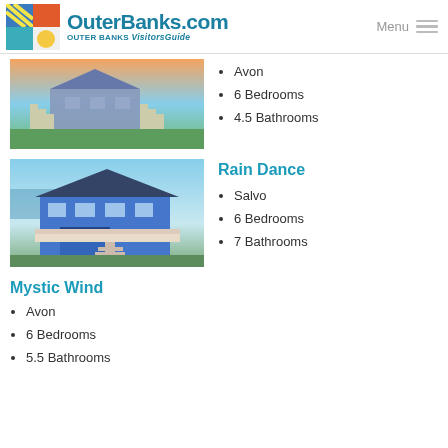OuterBanks.com Visitors Guide — Menu
[Figure (photo): Beach house with exterior stairs, sunset sky, green grass]
Avon
6 Bedrooms
4.5 Bathrooms
Rain Dance
[Figure (photo): Large blue beach house with multiple decks and staircase]
Salvo
6 Bedrooms
7 Bathrooms
Mystic Wind
Avon
6 Bedrooms
5.5 Bathrooms